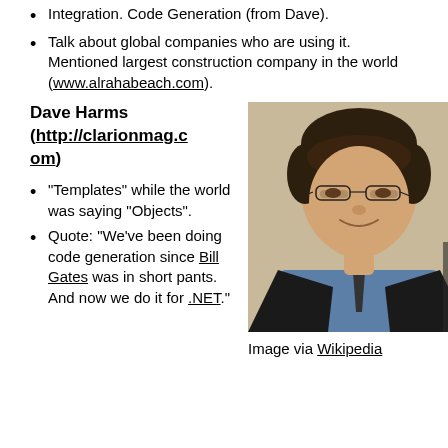Integration. Code Generation (from Dave).
Talk about global companies who are using it. Mentioned largest construction company in the world (www.alrahabeach.com).
Dave Harms (http://clarionmag.com)
"Templates" while the world was saying "Objects".
Quote: "We've been doing code generation since Bill Gates was in short pants. And now we do it for .NET."
[Figure (photo): Portrait photo of a middle-aged man with glasses smiling, wearing a dark jacket and blue shirt.]
Image via Wikipedia